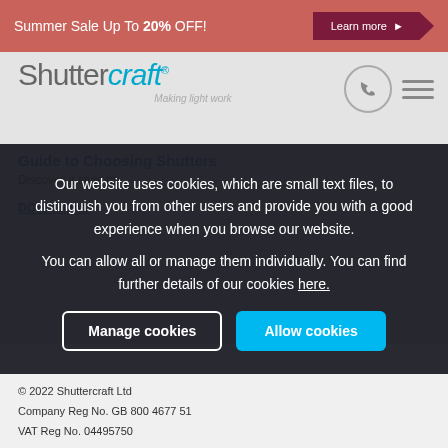Summer Sale Up To 20% OFF! — Learn more
[Figure (screenshot): Shuttercraft logo with tagline 'Making light work', phone icon circle, hamburger menu icon]
Guide to Choosing Shutters — Discover a style to —
DOWNLOAD
Our website uses cookies, which are small text files, to distinguish you from other users and provide you with a good experience when you browse our website.
You can allow all or manage them individually. You can find further details of our cookies here.
Manage cookies | Allow cookies
[Figure (logo): S-Craft logo black square with italic S letter, product text: PRO, TO, S-CRAFT PRODUCTS, social icons: f, twitter, YouTube, Instagram]
© 2022 Shuttercraft Ltd
Company Reg No. GB 800 4677 51
VAT Reg No. 04495750